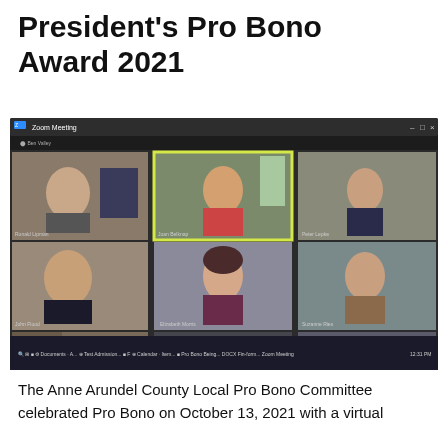President's Pro Bono Award 2021
[Figure (screenshot): Screenshot of a Zoom meeting showing 9 participants in a 3x3 grid. The center tile in the top row is highlighted in yellow, showing a woman in a red shirt. The bottom center tile shows 'Kim Klein' as a name label. Other participants are visible in their respective tiles including people in home/office settings.]
The Anne Arundel County Local Pro Bono Committee celebrated Pro Bono on October 13, 2021 with a virtual